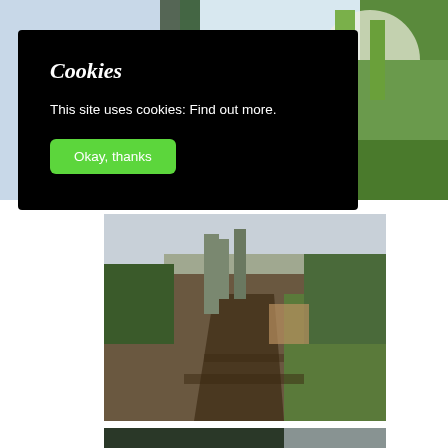[Figure (photo): Outdoor photograph showing sky and green hillside vegetation, partially visible behind the cookie consent overlay]
Cookies
This site uses cookies: Find out more.
Okay, thanks
[Figure (photo): Photograph of a muddy rural track or lane bordered by trees, bushes, a stone wall on the left, and a fence on the right, with a grassy area and overcast sky]
[Figure (photo): Partial photograph showing trees and sky at the bottom of the page]